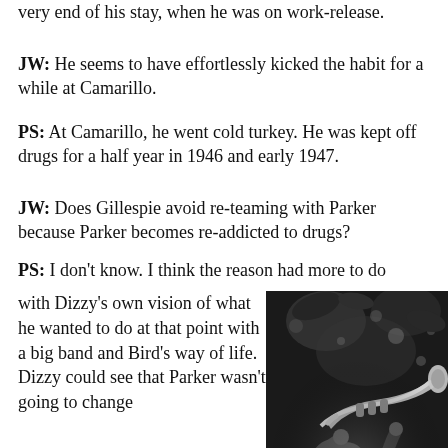very end of his stay, when he was on work-release.
JW: He seems to have effortlessly kicked the habit for a while at Camarillo.
PS: At Camarillo, he went cold turkey. He was kept off drugs for a half year in 1946 and early 1947.
JW: Does Gillespie avoid re-teaming with Parker because Parker becomes re-addicted to drugs?
PS: I don't know. I think the reason had more to do with Dizzy's own vision of what he wanted to do at that point with a big band and Bird's way of life. Dizzy could see that Parker wasn't going to change
[Figure (photo): Black and white photograph of a jazz musician (resembling Dizzy Gillespie) playing trumpet, wearing glasses, photographed from below against a dark background with bokeh lights and leaves visible]